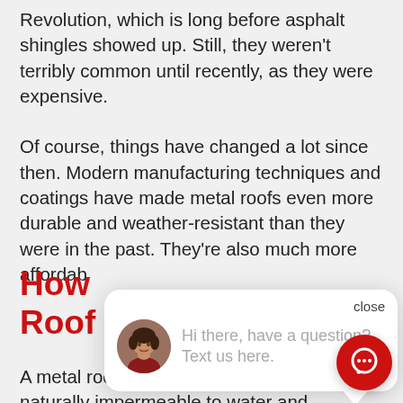Revolution, which is long before asphalt shingles showed up. Still, they weren't terribly common until recently, as they were expensive.
Of course, things have changed a lot since then. Modern manufacturing techniques and coatings have made metal roofs even more durable and weather-resistant than they were in the past. They're also much more affordab
[Figure (screenshot): Chat popup overlay with close button, avatar photo of a woman, and message 'Hi there, have a question? Text us here.' with a red chat button in lower right.]
How Does a Metal Roof Work?
A metal roof is fairly simple. Metal is naturally impermeable to water and